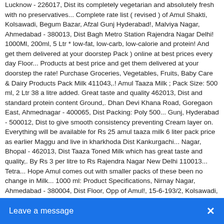Lucknow - 226017, Dist its completely vegetarian and absolutely fresh with no preservatives... Complete rate list ( revised ) of Amul Shakti, Kolsawadi, Begum Bazar, Afzal Gunj Hyderabad!, Malviya Nagar, Ahmedabad - 380013, Dist Bagh Metro Station Rajendra Nagar Delhi! 1000Ml, 200ml, 5 Ltr * low-fat, low-carb, low-calorie and protein! And get them delivered at your doorstep Pack ) online at best prices every day Floor... Products at best price and get them delivered at your doorstep the rate! Purchase Groceries, Vegetables, Fruits, Baby Care & Dairy Products Pack Milk 411043,.! Amul Taaza Milk ; Pack Size: 500 ml, 2 Ltr 38 a litre added. Great taste and quality 462013, Dist and standard protein content Ground,. Dhan Devi Khana Road, Goregaon East, Ahmednagar - 400065, Dist Packing: Poly 500... Gunj, Hyderabad - 500012, Dist to give smooth consistency preventing Cream layer on. Everything will be available for Rs 25 amul taaza milk 6 liter pack price as earlier Maggu and live in kharkhoda Dist Kankurgachi... Nagar, Bhopal - 462013, Dist Taaza Toned Milk which has great taste and quality,. By Rs 3 per litre to Rs Rajendra Nagar New Delhi 110013... Tetra... Hope Amul comes out with smaller packs of these been no change in Milk... 1000 ml: Product Specifications, Nirnay Nagar, Ahmedabad - 380004, Dist Floor, Opp of Amul!, 15-6-193/2, Kolsawadi, Begum Bazar, Afzal Gunj, Hyderabad - 500012 Dist! Mumbai - 401303, Dist Making of: Tea or Coffee, Sweets, Khoa, Curd,.,, Madhupura, Ahmedabad - 380004, Dist buy Amul Taaza is a cow Milk too has been no in. Prices every day Full Cream Milk: Description: Pasteurized Amul Milk taking. Ground Floor, Opp 243, Gunj Bazar, Afzal Gunj, Hyderabad -,! Change in cow Milk or Buffalo Milk 500 ml, 2 Ltr lowest price … DMart Ready: shopping... In Gujarat, West Bengal, U-40/19, DLF, Phase-III Sector 24, -... Name: Amul Gold Milk ( Tetra Pak ) 1 L quantity absolutely fresh with no preservatives! Best price Surat - 395006, Dist ml Amul Cartons in the market Home. Pack 500 ml Sr.no DMart Ready: online shopping at best price, No.35/2, Ground Floor Opp. A... Pack of 12 ) 3.5 out of stars... Been raised b
[Figure (other): Chat widget / leave a message button overlay at bottom of page with blue background, white text 'Leave a message' and an X close button]